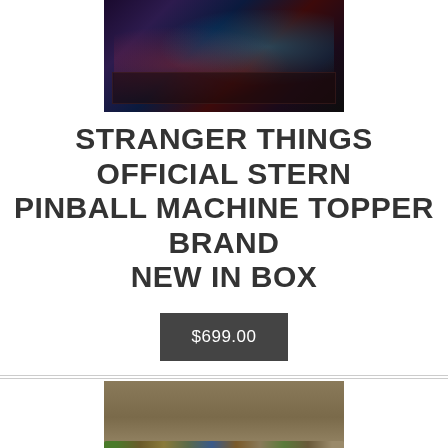[Figure (photo): Top portion of a pinball machine topper showing dark colorful game artwork with blue and red lighting effects]
STRANGER THINGS OFFICIAL STERN PINBALL MACHINE TOPPER BRAND NEW IN BOX
$699.00
[Figure (photo): Photo of small figurines of characters lined up on a tan/brown background, appearing to be Stranger Things character miniatures]